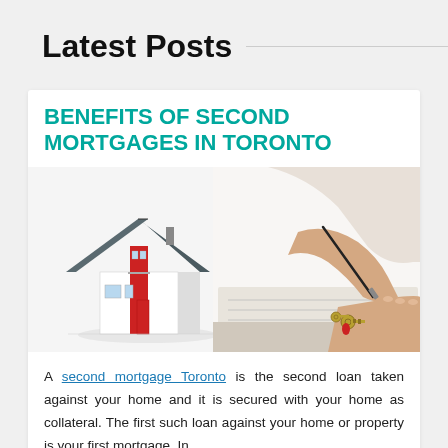Latest Posts
BENEFITS OF SECOND MORTGAGES IN TORONTO
[Figure (photo): A composite image showing a miniature red and white house model on the left, and a person's hands signing a document with keys beside them on the right.]
A second mortgage Toronto is the second loan taken against your home and it is secured with your home as collateral. The first such loan against your home or property is your first mortgage. In